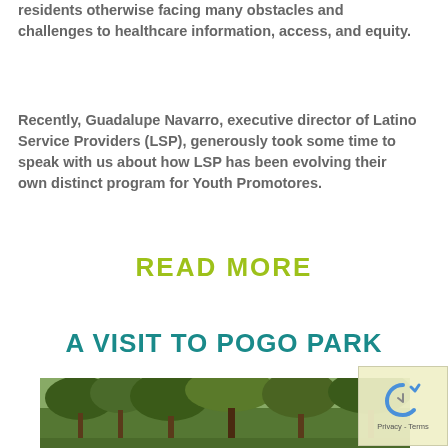residents otherwise facing many obstacles and challenges to healthcare information, access, and equity.
Recently, Guadalupe Navarro, executive director of Latino Service Providers (LSP), generously took some time to speak with us about how LSP has been evolving their own distinct program for Youth Promotores.
READ MORE
A VISIT TO POGO PARK
[Figure (photo): Outdoor photo showing trees in a park setting]
[Figure (other): reCAPTCHA privacy badge with Privacy and Terms links]